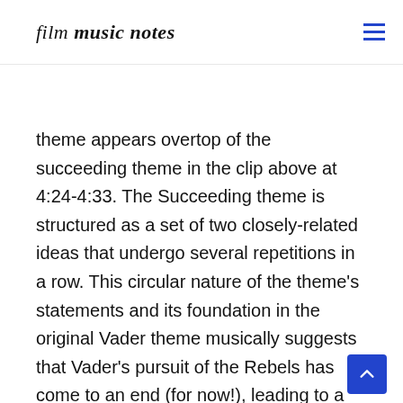film music notes
As tho betwe der theme appears overtop of the succeeding theme in the clip above at 4:24-4:33. The Succeeding theme is structured as a set of two closely-related ideas that undergo several repetitions in a row. This circular nature of the theme's statements and its foundation in the original Vader theme musically suggests that Vader's pursuit of the Rebels has come to an end (for now!), leading to a kind of fearful stasis in the action. The Vader Succeeding theme is therefore an effective means of marking the shift of the upper hand from the Rebels to Vader.